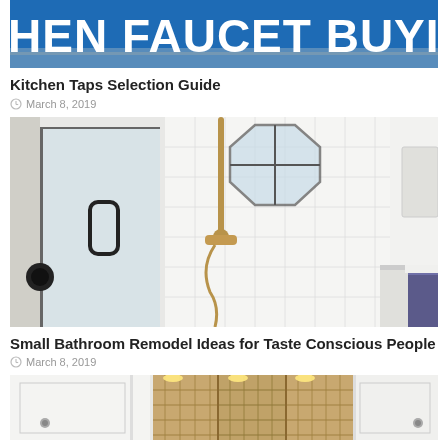[Figure (photo): Kitchen faucet buying guide banner image with blue background and bold white text reading 'HEN FAUCET BUYING G' (partially cropped)]
Kitchen Taps Selection Guide
March 8, 2019
[Figure (photo): Small bathroom with glass shower enclosure, white subway tile walls, octagon window, gold/bronze handheld shower head, black door hardware, and purple cabinet visible on the right]
Small Bathroom Remodel Ideas for Taste Conscious People
March 8, 2019
[Figure (photo): Bottom portion of a bathroom image showing white cabinetry and wicker/rattan storage baskets with overhead lighting]